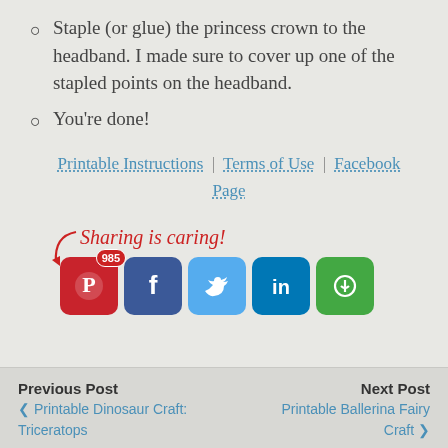Staple (or glue) the princess crown to the headband. I made sure to cover up one of the stapled points on the headband.
You're done!
Printable Instructions | Terms of Use | Facebook Page
[Figure (infographic): Sharing is caring! label with arrow and social media share buttons: Pinterest (985 shares), Facebook, Twitter, LinkedIn, Print]
Previous Post | Printable Dinosaur Craft: Triceratops    Next Post | Printable Ballerina Fairy Craft